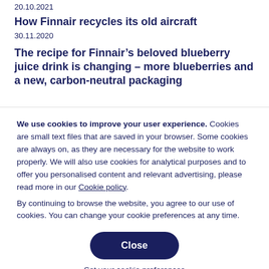20.10.2021
How Finnair recycles its old aircraft
30.11.2020
The recipe for Finnair’s beloved blueberry juice drink is changing – more blueberries and a new, carbon-neutral packaging
We use cookies to improve your user experience. Cookies are small text files that are saved in your browser. Some cookies are always on, as they are necessary for the website to work properly. We will also use cookies for analytical purposes and to offer you personalised content and relevant advertising, please read more in our Cookie policy.
By continuing to browse the website, you agree to our use of cookies. You can change your cookie preferences at any time.
Close
Set your cookie preferences